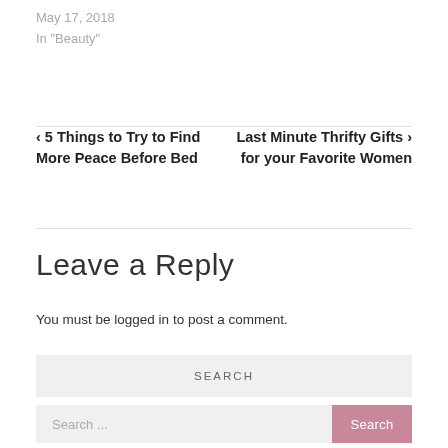May 17, 2018
In "Beauty"
‹ 5 Things to Try to Find More Peace Before Bed
Last Minute Thrifty Gifts › for your Favorite Women
Leave a Reply
You must be logged in to post a comment.
SEARCH
Search ...